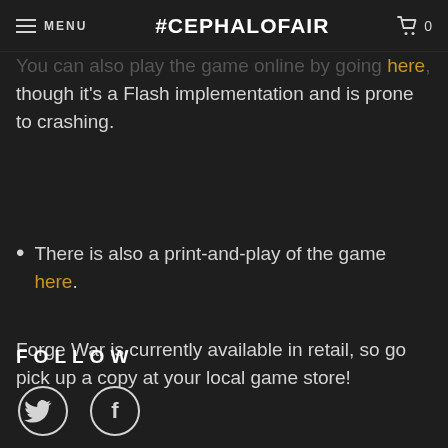MENU  #CEPHALOFAIR  0
You can also play the game online by going here, though it's a Flash implementation and is prone to crashing.
There is also a print-and-play of the game here.
Forge War is currently available in retail, so go pick up a copy at your local game store!
FOLLOW
[Figure (illustration): Twitter bird icon and Facebook 'f' icon in circular outlines]